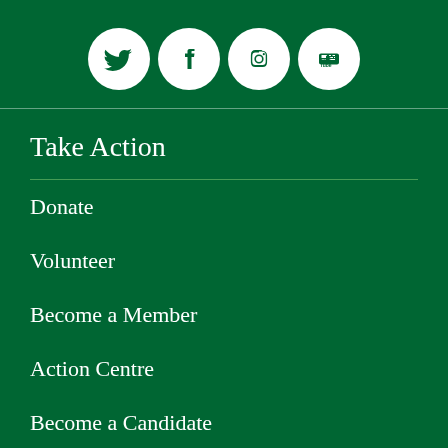[Figure (illustration): Four social media icon circles: Twitter (bird icon), Facebook (f icon), Instagram (camera icon), YouTube (You/Tube icon), all white circles with dark green icons]
Take Action
Donate
Volunteer
Become a Member
Action Centre
Become a Candidate